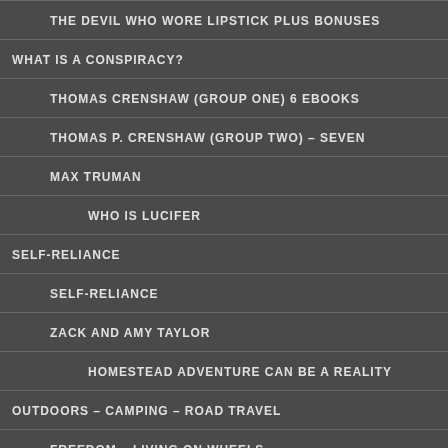THE DEVIL WHO WORE LIPSTICK PLUS BONUSES
WHAT IS A CONSPIRACY?
THOMAS CRENSHAW (GROUP ONE) 6 EBOOKS
THOMAS P. CRENSHAW (GROUP TWO) – SEVEN
MAX TRUMAN
WHO IS LUCIFER
SELF-RELIANCE
SELF-RELIANCE
ZACK AND AMY TAYLOR
HOMESTEAD ADVENTURE CAN BE A REALITY
OUTDOORS – CAMPING – ROAD TRAVEL
FREEDOM – LIVING ON WHEELS